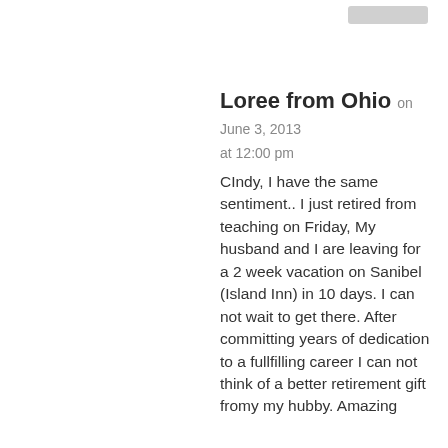Loree from Ohio on June 3, 2013
at 12:00 pm
CIndy, I have the same sentiment.. I just retired from teaching on Friday, My husband and I are leaving for a 2 week vacation on Sanibel (Island Inn) in 10 days. I can not wait to get there. After committing years of dedication to a fullfilling career I can not think of a better retirement gift fromy my hubby. Amazing